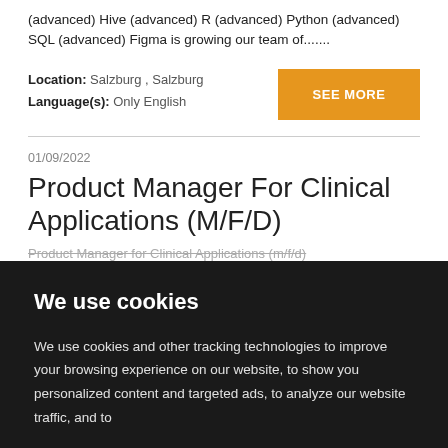(advanced) Hive (advanced) R (advanced) Python (advanced) SQL (advanced) Figma is growing our team of.......
Location: Salzburg , Salzburg
Language(s): Only English
SEE MORE
01/09/2022
Product Manager For Clinical Applications (M/F/D)
Product Manager for Clinical Applications (m/f/d)
We use cookies
We use cookies and other tracking technologies to improve your browsing experience on our website, to show you personalized content and targeted ads, to analyze our website traffic, and to